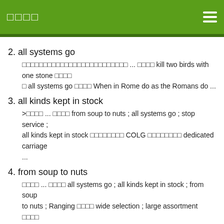□□□□
2. all systems go
□□□□□□□□□□□□□□□□□□□□□□□□□ ... □□□□ kill two birds with one stone □□□□ all systems go □□□□ When in Rome do as the Romans do ...
3. all kinds kept in stock
>□□□□ ... □□□□ from soup to nuts ; all systems go ; stop service ; all kinds kept in stock □□□□□□□□ COLG □□□□□□□□ dedicated carriage ...
4. from soup to nuts
□□□□ ... □□□□ all systems go ; all kinds kept in stock ; from soup to nuts ; Ranging □□□□ wide selection ; large assortment □□□□ Fully-equipped ...
□□□□